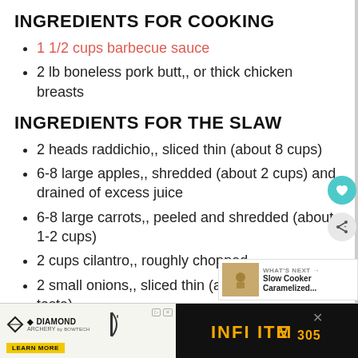INGREDIENTS FOR COOKING
1 1/2 cups barbecue sauce
2 lb boneless pork butt,, or thick chicken breasts
INGREDIENTS FOR THE SLAW
2 heads raddichio,, sliced thin (about 8 cups)
6-8 large apples,, shredded (about 2 cups) and drained of excess juice
6-8 large carrots,, peeled and shredded (about 1-2 cups)
2 cups cilantro,, roughly chopped
2 small onions,, sliced thin (about 1/2 cup, or to taste)
[Figure (other): Diamond Archery advertisement banner with Infinite 305 bow logo and Learn More button]
[Figure (other): What's Next overlay with Slow Cooker Caramelized thumbnail]
[Figure (other): Heart icon and share icon on right sidebar]